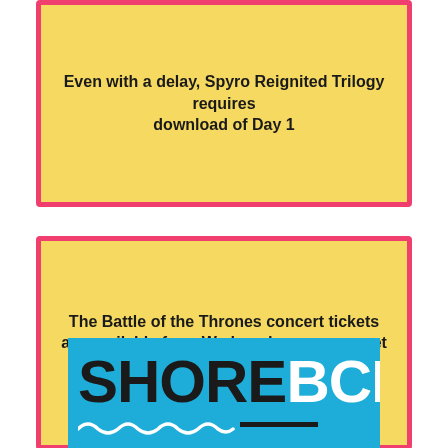Even with a delay, Spyro Reignited Trilogy requires download of Day 1
The Battle of the Thrones concert tickets are available from Wednesday, you can get them for one day at an extra discount
[Figure (logo): SHORE BCN logo on a blue background with wave underline decoration]